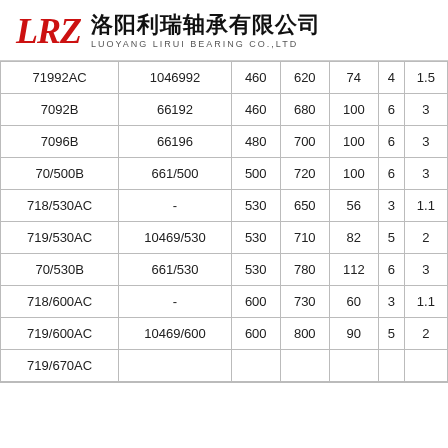[Figure (logo): LRZ logo with Chinese company name 洛阳利瑞轴承有限公司 and English name LUOYANG LIRUI BEARING CO.,LTD]
| 71992AC | 1046992 | 460 | 620 | 74 | 4 | 1.5 |
| 7092B | 66192 | 460 | 680 | 100 | 6 | 3 |
| 7096B | 66196 | 480 | 700 | 100 | 6 | 3 |
| 70/500B | 661/500 | 500 | 720 | 100 | 6 | 3 |
| 718/530AC | - | 530 | 650 | 56 | 3 | 1.1 |
| 719/530AC | 10469/530 | 530 | 710 | 82 | 5 | 2 |
| 70/530B | 661/530 | 530 | 780 | 112 | 6 | 3 |
| 718/600AC | - | 600 | 730 | 60 | 3 | 1.1 |
| 719/600AC | 10469/600 | 600 | 800 | 90 | 5 | 2 |
| 719/670AC |  |  |  |  |  |  |